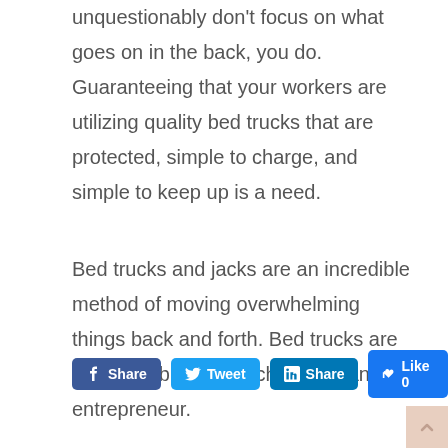unquestionably don't focus on what goes on in the back, you do. Guaranteeing that your workers are utilizing quality bed trucks that are protected, simple to charge, and simple to keep up is a need.
Bed trucks and jacks are an incredible method of moving overwhelming things back and forth. Bed trucks are an incredible buying choice for any entrepreneur.
[Figure (screenshot): Social media sharing buttons: Facebook Share, Twitter Tweet, LinkedIn Share, Like 0]